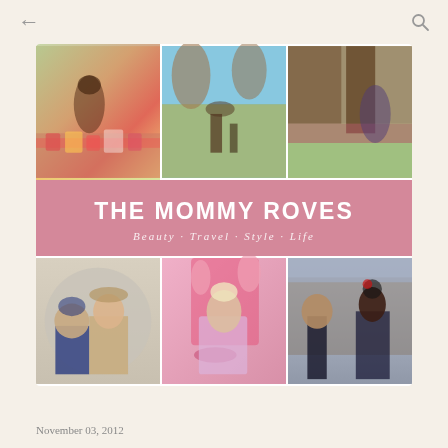← (back) Q (search)
[Figure (photo): Blog header image collage: 3x2 grid of lifestyle photos showing women and children in outdoor settings with flowers, gardens, tulips, a field of white flowers, a pink floral backdrop, and a Disney-style castle. Center pink banner reads THE MOMMY ROVES with tagline Beauty · Travel · Style · Life]
November 03, 2012